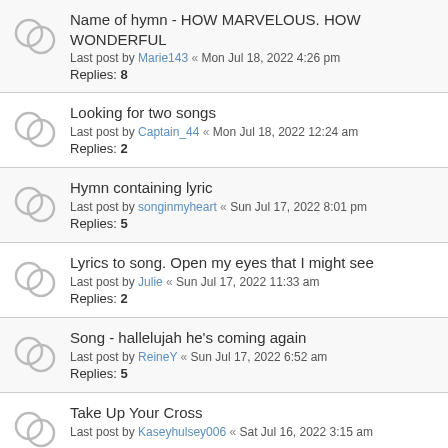Name of hymn - HOW MARVELOUS. HOW WONDERFUL
Last post by Marie143 « Mon Jul 18, 2022 4:26 pm
Replies: 8
Looking for two songs
Last post by Captain_44 « Mon Jul 18, 2022 12:24 am
Replies: 2
Hymn containing lyric
Last post by songinmyheart « Sun Jul 17, 2022 8:01 pm
Replies: 5
Lyrics to song. Open my eyes that I might see
Last post by Julie « Sun Jul 17, 2022 11:33 am
Replies: 2
Song - hallelujah he's coming again
Last post by ReineY « Sun Jul 17, 2022 6:52 am
Replies: 5
Take Up Your Cross
Last post by Kaseyhulsey006 « Sat Jul 16, 2022 3:15 am
God's Gift of Love by Neoma McConnell and Johnnie Clayborn ... There is a gift of love for you
Last post by SiS « Fri Jul 15, 2022 8:45 pm
Replies: 2